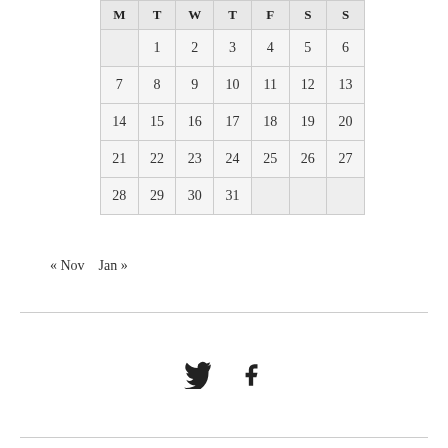| M | T | W | T | F | S | S |
| --- | --- | --- | --- | --- | --- | --- |
|  | 1 | 2 | 3 | 4 | 5 | 6 |
| 7 | 8 | 9 | 10 | 11 | 12 | 13 |
| 14 | 15 | 16 | 17 | 18 | 19 | 20 |
| 21 | 22 | 23 | 24 | 25 | 26 | 27 |
| 28 | 29 | 30 | 31 |  |  |  |
« Nov   Jan »
[Figure (other): Social media icons: Twitter (bird) and Facebook (f)]